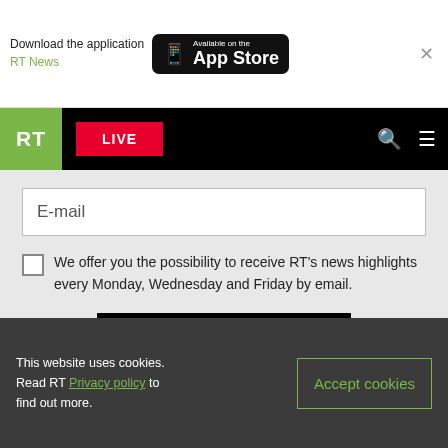[Figure (screenshot): RT website screenshot showing app download banner, navigation bar with RT logo, LIVE button, search and menu icons, email subscription form with checkbox and Subscribe button, and cookie consent bar at the bottom.]
Download the application RT News
[Figure (logo): Available on the App Store button (black rounded rectangle with phone icon)]
highlights of the day right in your mailbox
RT LIVE
E-mail
We offer you the possibility to receive RT's news highlights every Monday, Wednesday and Friday by email.
Subscribe
This website uses cookies. Read RT Privacy policy to find out more.
Accept cookies